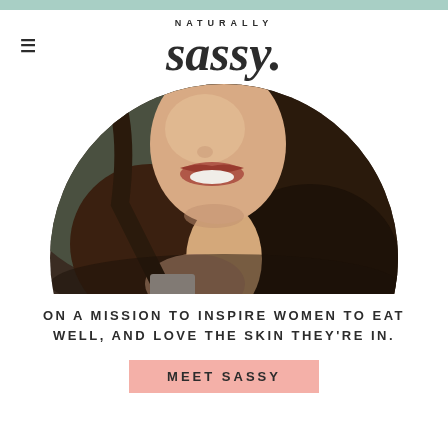NATURALLY sassy.
[Figure (photo): Close-up circular cropped photo of a smiling woman with long brown hair, showing her smile and bare shoulder against a dark background.]
ON A MISSION TO INSPIRE WOMEN TO EAT WELL, AND LOVE THE SKIN THEY'RE IN.
MEET SASSY